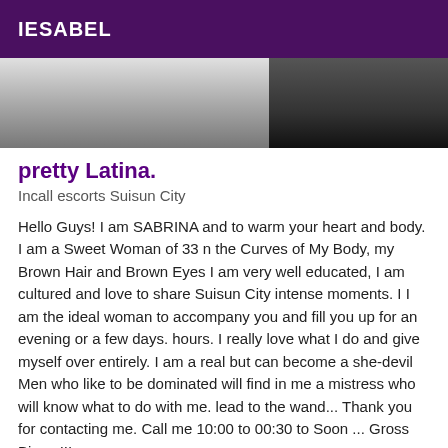IESABEL
[Figure (photo): Partial photo of a person, dark and light tones, cropped]
pretty Latina.
Incall escorts Suisun City
Hello Guys! I am SABRINA and to warm your heart and body. I am a Sweet Woman of 33 n the Curves of My Body, my Brown Hair and Brown Eyes I am very well educated, I am cultured and love to share Suisun City intense moments. I I am the ideal woman to accompany you and fill you up for an evening or a few days. hours. I really love what I do and give myself over entirely. I am a real but can become a she-devil Men who like to be dominated will find in me a mistress who will know what to do with me. lead to the wand... Thank you for contacting me. Call me 10:00 to 00:30 to Soon ... Gross Bisou !!!